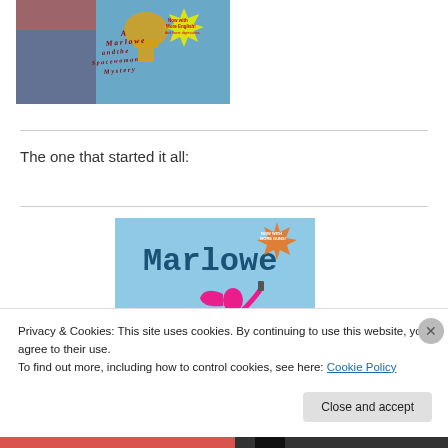[Figure (illustration): Book cover for 'A Marlowe and the Spacewoman Mystery' featuring a cartoon character in a cape, with text 'Now with More English! And fewer digressions']
The one that started it all:
[Figure (illustration): Book cover for 'Marlowe' featuring a pink silhouette of a woman with text 'It's hard to stay clean... ...when even the soap's out to get you' and a 'Now with More Guns!' badge]
Privacy & Cookies: This site uses cookies. By continuing to use this website, you agree to their use.
To find out more, including how to control cookies, see here: Cookie Policy
Close and accept